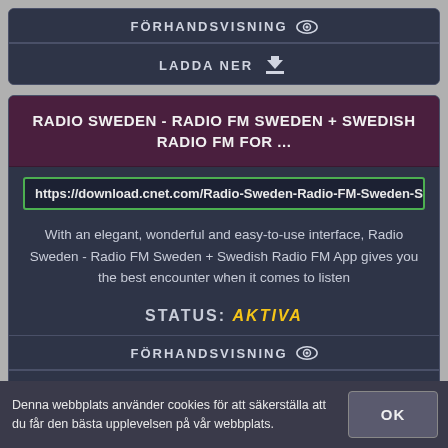FÖRHANDSVISNING
LADDA NER
RADIO SWEDEN - RADIO FM SWEDEN + SWEDISH RADIO FM FOR ...
https://download.cnet.com/Radio-Sweden-Radio-FM-Sweden-Swedish-...
With an elegant, wonderful and easy-to-use interface, Radio Sweden - Radio FM Sweden + Swedish Radio FM App gives you the best encounter when it comes to listen
STATUS: AKTIVA
FÖRHANDSVISNING
LADDA NER
Denna webbplats använder cookies för att säkerställa att du får den bästa upplevelsen på vår webbplats.